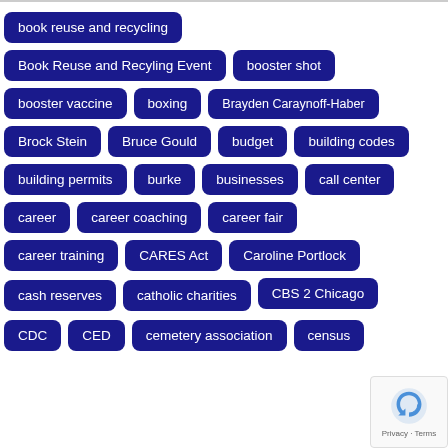book reuse and recycling
Book Reuse and Recyling Event
booster shot
booster vaccine
boxing
Brayden Caraynoff-Haber
Brock Stein
Bruce Gould
budget
building codes
building permits
burke
businesses
call center
career
career coaching
career fair
career training
CARES Act
Caroline Portlock
cash reserves
catholic charities
CBS 2 Chicago
CDC
CED
cemetery association
census